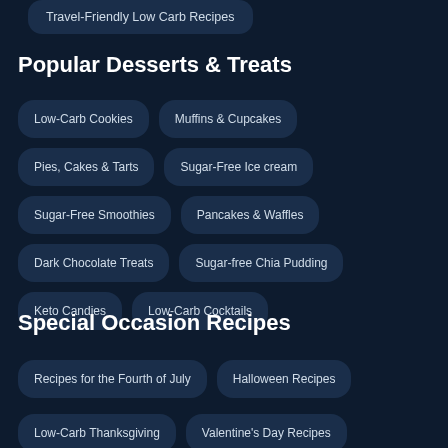Travel-Friendly Low Carb Recipes
Popular Desserts & Treats
Low-Carb Cookies
Muffins & Cupcakes
Pies, Cakes & Tarts
Sugar-Free Ice cream
Sugar-Free Smoothies
Pancakes & Waffles
Dark Chocolate Treats
Sugar-free Chia Pudding
Keto Candies
Low-Carb Cocktails
Special Occasion Recipes
Recipes for the Fourth of July
Halloween Recipes
Low-Carb Thanksgiving
Valentine's Day Recipes